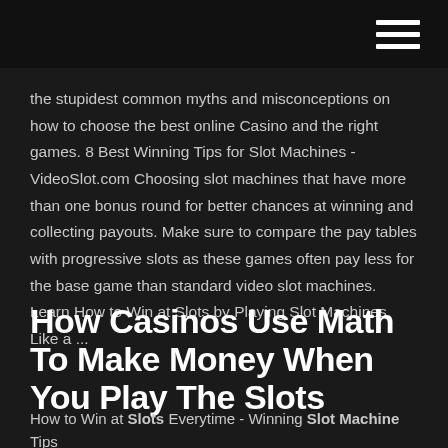the stupidest common myths and misconceptions on how to choose the best online Casino and the right games. 8 Best Winning Tips for Slot Machines - VideoSlot.com Choosing slot machines that have more than one bonus round for better chances at winning and collecting payouts. Make sure to compare the pay tables with progressive slots as these games often pay less for the base game than standard video slot machines. Learn How to Win at Slots by Playing Slot Machines Like a ...
How Casinos Use Math To Make Money When You Play The Slots
How to Win at Slots Everytime - Winning Slot Machine Tips